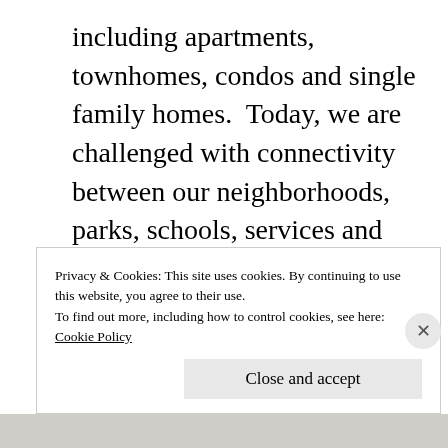including apartments, townhomes, condos and single family homes.  Today, we are challenged with connectivity between our neighborhoods, parks, schools, services and employment centers.  That's why smart growth and planning is so important.
Privacy & Cookies: This site uses cookies. By continuing to use this website, you agree to their use.
To find out more, including how to control cookies, see here:
Cookie Policy